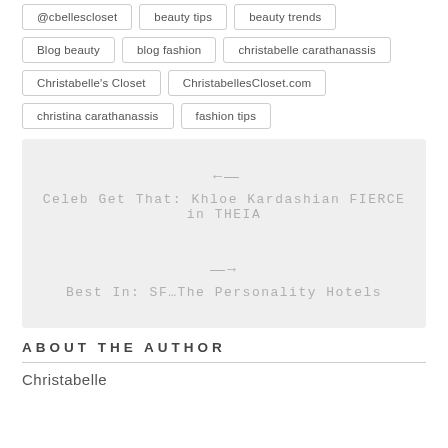@cbellescloset
beauty tips
beauty trends
Blog beauty
blog fashion
christabelle carathanassis
Christabelle's Closet
ChristabellesCloset.com
christina carathanassis
fashion tips
← Celeb Get That: Khloe Kardashian FIERCE in THEIA
→ Best In: SF…The Personality Hotels
ABOUT THE AUTHOR
Christabelle